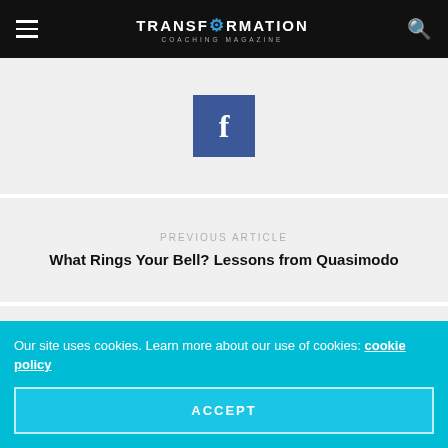TRANSFORMATION COACHING MAGAZINE
[Figure (logo): Facebook share button - blue square with white letter f]
PREVIOUS ARTICLE
What Rings Your Bell? Lessons from Quasimodo
NEXT ARTICLE
3 Tips for Building Wealth
COMMENTS (0)
Our site uses cookies. Learn more about our use of cookies: cookie policy
ACCEPT